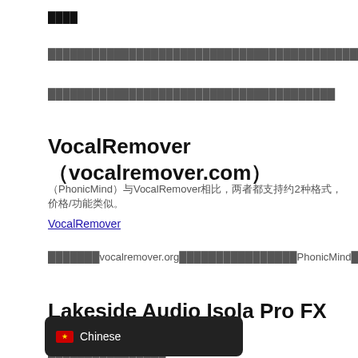████
██████████████████████████████████████████████████████████
███████████████████████████████████████
VocalRemover（vocalremover.com）
（PhonicMind）与VocalRemover相比，两者都支持约2种格式，价格/功能类似。
VocalRemover
███████vocalremover.org████████████████PhonicMind██████
Lakeside Audio Isola Pro FX
o Isola Pro FX的VST插件提供约2个不同的████████████████